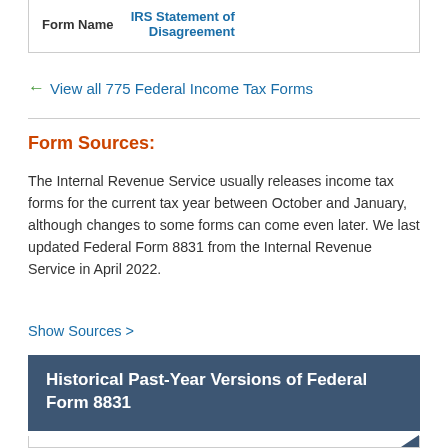| Form Name | IRS Statement of Disagreement |
| --- | --- |
View all 775 Federal Income Tax Forms
Form Sources:
The Internal Revenue Service usually releases income tax forms for the current tax year between October and January, although changes to some forms can come even later. We last updated Federal Form 8831 from the Internal Revenue Service in April 2022.
Show Sources >
Historical Past-Year Versions of Federal Form 8831